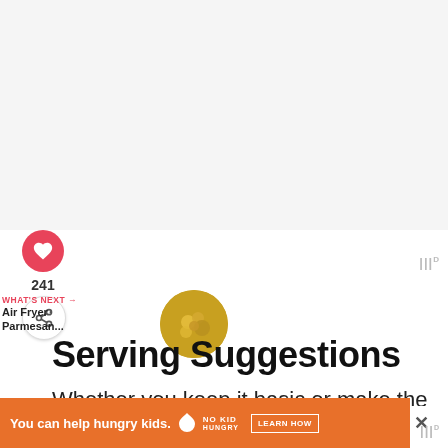[Figure (other): Large light gray/white image area at top of page, likely a food photo cropped out]
[Figure (other): Pink/rose heart favorite button with count 241 below it, and share button with plus icon]
241
WHAT'S NEXT → Air Fryer Parmesan...
[Figure (photo): Small circular thumbnail of fried food (Air Fryer Parmesan)]
Serving Suggestions
Whether you keep it basic or make the asparagus with parmesan crust, this is a simple bu...
[Figure (other): Orange advertisement banner: 'You can help hungry kids.' with No Kid Hungry logo and LEARN HOW button, with X close button]